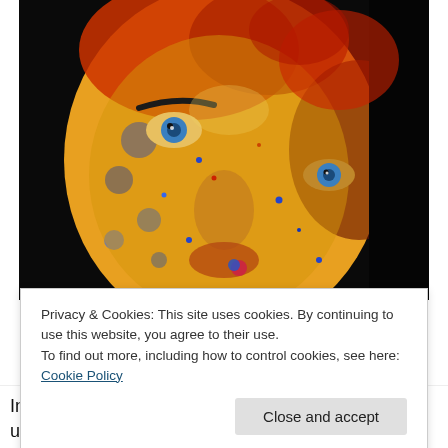[Figure (photo): Close-up portrait of a person's face covered in colorful powder paint in red, blue, yellow, and orange hues, with striking blue eyes visible through the color.]
Privacy & Cookies: This site uses cookies. By continuing to use this website, you agree to their use.
To find out more, including how to control cookies, see here: Cookie Policy
In the last couple of weeks, and strangely my life usually